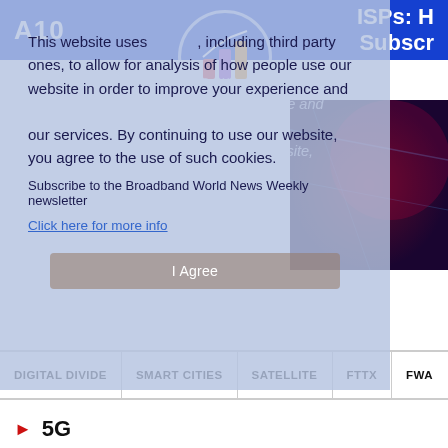[Figure (screenshot): A10 Networks logo and bar chart icon in blue header banner. Right side shows 'ISPs: H...' and 'Subscr...' text. Background shows Broadband World News website header with dark background, navigation, and sponsored by A1 branding.]
This website uses cookies, including third party ones, to allow for analysis of how people use our website in order to improve your experience and our services. By continuing to use our website, you agree to the use of such cookies.
Subscribe to the Broadband World News Weekly newsletter
Click here for more info
I Agree
BROADBAN
Sponsored by:  A1
DIGITAL DIVIDE
SMART CITIES
SATELLITE
FTTX
FWA
5G